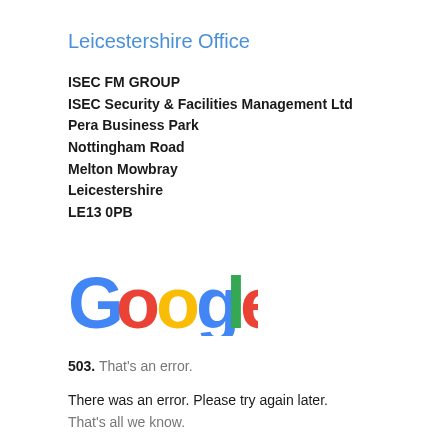Leicestershire Office
ISEC FM GROUP
ISEC Security & Facilities Management Ltd
Pera Business Park
Nottingham Road
Melton Mowbray
Leicestershire
LE13 0PB
[Figure (logo): Google logo in multicolor (blue, red, yellow, green)]
503. That's an error.
There was an error. Please try again later.
That's all we know.